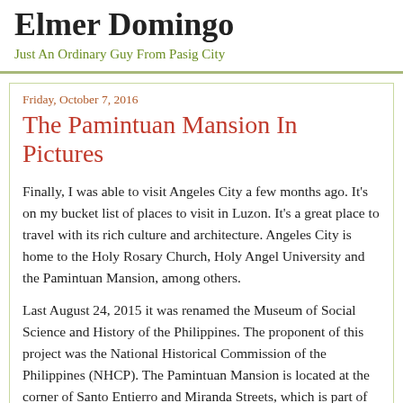Elmer Domingo
Just An Ordinary Guy From Pasig City
Friday, October 7, 2016
The Pamintuan Mansion In Pictures
Finally, I was able to visit Angeles City a few months ago. It’s on my bucket list of places to visit in Luzon. It’s a great place to travel with its rich culture and architecture. Angeles City is home to the Holy Rosary Church, Holy Angel University and the Pamintuan Mansion, among others.
Last August 24, 2015 it was renamed the Museum of Social Science and History of the Philippines. The proponent of this project was the National Historical Commission of the Philippines (NHCP). The Pamintuan Mansion is located at the corner of Santo Entierro and Miranda Streets, which is part of the heritage district of Angeles City.
The Pamintuan Mansion was built by Mariano Pamintuan and Valentina Torres in 1890. It was a wedding gift to their